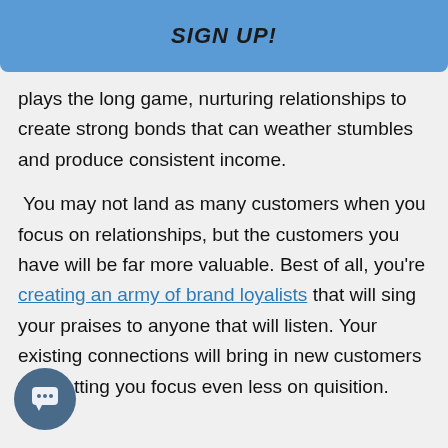SIGN UP!
plays the long game, nurturing relationships to create strong bonds that can weather stumbles and produce consistent income.
You may not land as many customers when you focus on relationships, but the customers you have will be far more valuable. Best of all, you're creating an army of brand loyalists that will sing your praises to anyone that will listen. Your existing connections will bring in new customers you, letting you focus even less on quisition.